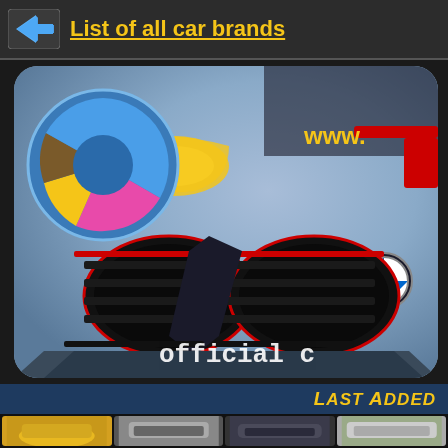List of all car brands
[Figure (photo): Website banner showing a close-up of a BMW sports car front grille with red accents and yellow headlights, with a colorful pie-chart logo overlay in the top-left corner and 'www.' and 'official c' text overlays]
LAST ADDED
[Figure (photo): Strip of four car thumbnail images at the bottom of the page]